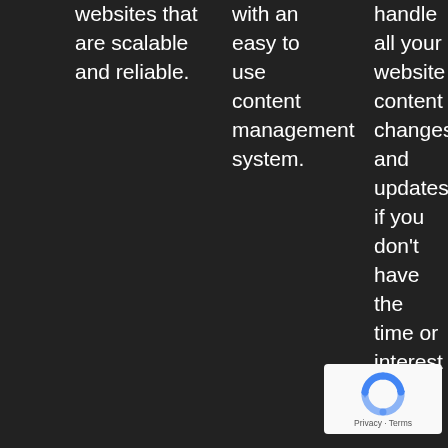websites that are scalable and reliable.
with an easy to use content management system.
handle all your website content changes and updates if you don't have the time or interest
[Figure (other): Google reCAPTCHA widget with recycling-arrow logo and Privacy · Terms text]